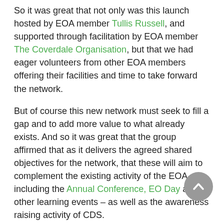So it was great that not only was this launch hosted by EOA member Tullis Russell, and supported through facilitation by EOA member The Coverdale Organisation, but that we had eager volunteers from other EOA members offering their facilities and time to take forward the network.
But of course this new network must seek to fill a gap and to add more value to what already exists. And so it was great that the group affirmed that as it delivers the agreed shared objectives for the network, that these will aim to complement the existing activity of the EOA including the Annual Conference, EO Day and other learning events – as well as the awareness raising activity of CDS.
Probably of most importance is that there was keen support for this network to be a channel to inspire and